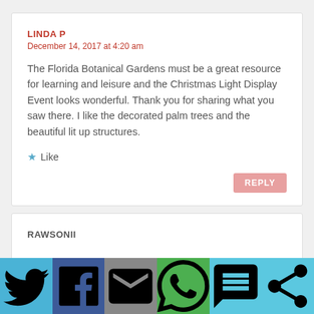LINDA P
December 14, 2017 at 4:20 am
The Florida Botanical Gardens must be a great resource for learning and leisure and the Christmas Light Display Event looks wonderful. Thank you for sharing what you saw there. I like the decorated palm trees and the beautiful lit up structures.
Like
REPLY
RAWSONII
[Figure (infographic): Social media share bar with Twitter, Facebook, Email, WhatsApp, SMS, and Share buttons]